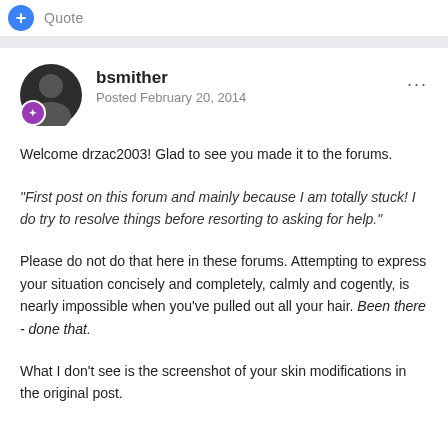Quote
bsmither
Posted February 20, 2014
Welcome drzac2003! Glad to see you made it to the forums.
"First post on this forum and mainly because I am totally stuck!  I do try to resolve things before resorting to asking for help."
Please do not do that here in these forums. Attempting to express your situation concisely and completely, calmly and cogently, is nearly impossible when you've pulled out all your hair. Been there - done that.
What I don't see is the screenshot of your skin modifications in the original post.